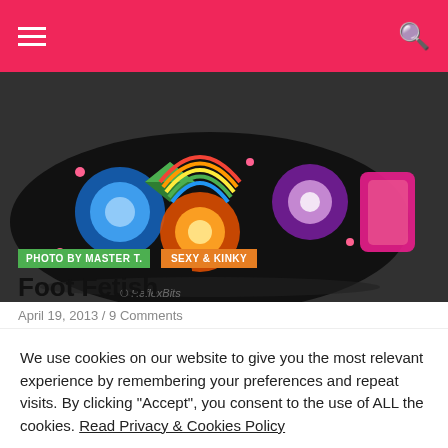Navigation bar with menu and search icons
[Figure (photo): Close-up photo of a colorful high-heel shoe with rainbow floral pattern on black background, pink strap visible]
PHOTO BY MASTER T.   SEXY & KINKY
Foot Fetish
April 19, 2013 / 9 Comments
We use cookies on our website to give you the most relevant experience by remembering your preferences and repeat visits. By clicking "Accept", you consent to the use of ALL the cookies. Read Privacy & Cookies Policy
Cookie settings
ACCEPT
REJECT